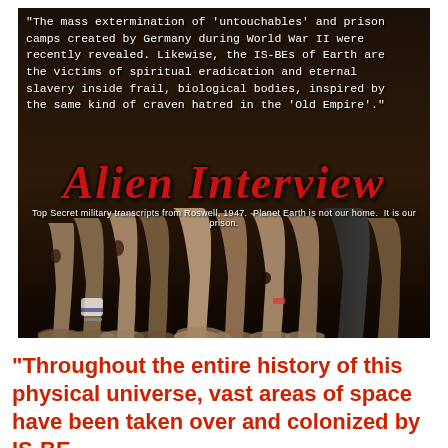[Figure (photo): Book cover image for 'Alien Interview' showing multiple human legs/feet in dark tones, with a white monospace quote at the top about mass extermination and IS-BEs, a red italic title 'ALIEN INTERVIEW', and subtitle text about top secret military transcripts from Roswell 1947.]
“Throughout the entire history of this physical universe, vast areas of space have been taken over and colonized by IS-BE